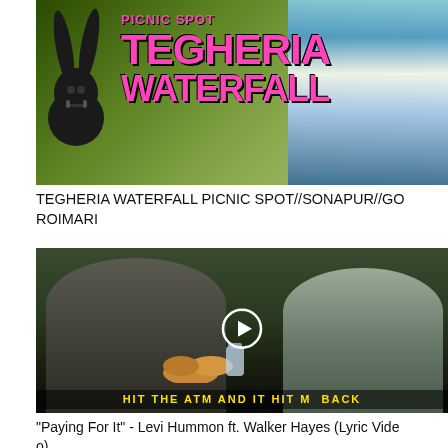[Figure (photo): Thumbnail image with pink graffiti-style text reading PICNIC SPOT TEGHERIA WATERFALL on a green outdoor background with a cartoon bunny and waterfall]
TEGHERIA WATERFALL PICNIC SPOT//SONAPUR//GOROIMARI
[Figure (screenshot): Video thumbnail showing two men outdoors at a table, with a play button overlay and yellow text HIT THE ATM AND IT HIT ME BACK at the bottom]
"Paying For It" - Levi Hummon ft. Walker Hayes (Lyric Video)